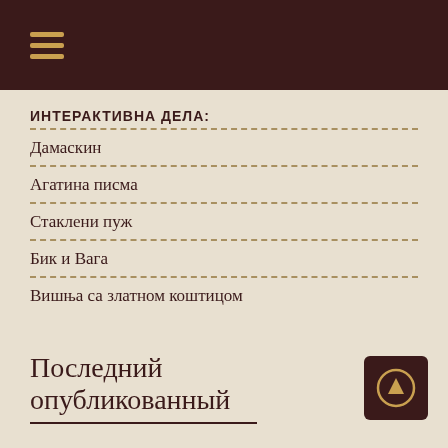☰ (hamburger menu icon)
ИНТЕРАКТИВНА ДЕЛА:
Дамаскин
Агатина писма
Стаклени пуж
Бик и Вага
Вишња са златном коштицом
Последний опубликованный